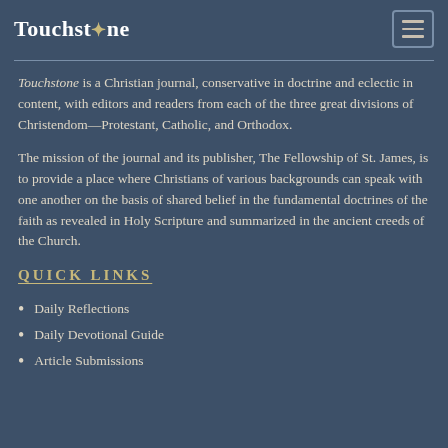Touchstone
Touchstone is a Christian journal, conservative in doctrine and eclectic in content, with editors and readers from each of the three great divisions of Christendom—Protestant, Catholic, and Orthodox.
The mission of the journal and its publisher, The Fellowship of St. James, is to provide a place where Christians of various backgrounds can speak with one another on the basis of shared belief in the fundamental doctrines of the faith as revealed in Holy Scripture and summarized in the ancient creeds of the Church.
QUICK LINKS
Daily Reflections
Daily Devotional Guide
Article Submissions